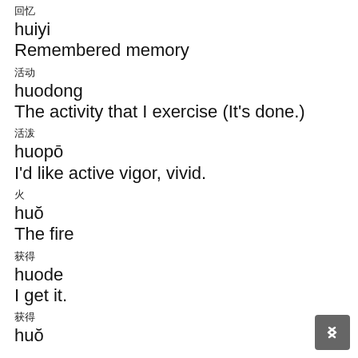回忆
huiyi
Remembered memory
活动
huodong
The activity that I exercise (It's done.)
活泼
huopō
I'd like active vigor, vivid.
火
huǒ
The fire
获得
huode
I get it.
获得